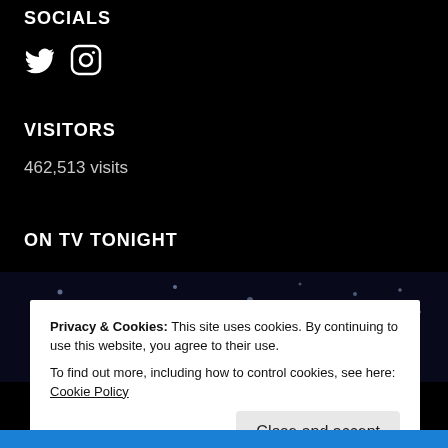SOCIALS
[Figure (illustration): Twitter bird icon and Instagram camera icon in white on black background]
VISITORS
462,513 visits
ON TV TONIGHT
[Figure (screenshot): Dark night sky background with bokeh light dots and a large orange/red circle (sun or planet) in the center]
Privacy & Cookies: This site uses cookies. By continuing to use this website, you agree to their use.
To find out more, including how to control cookies, see here: Cookie Policy
Close and accept